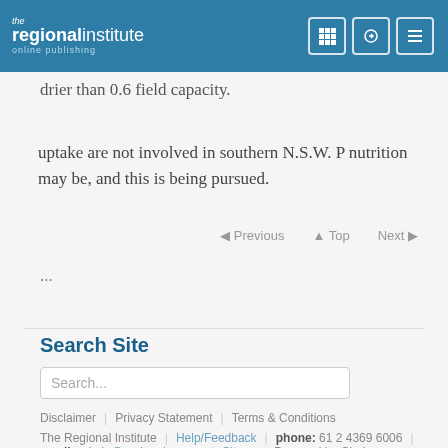the regional institute online publishing
uptake are not involved in southern N.S.W. P nutrition may be, and this is being pursued.
◄ Previous  ▲ Top  Next ►
...
Search Site
Disclaimer | Privacy Statement | Terms & Conditions
The Regional Institute | Help/Feedback | phone: 61 2 4369 6006 | email: admin@regional.org.au | Sitemap | Powered by Cirql